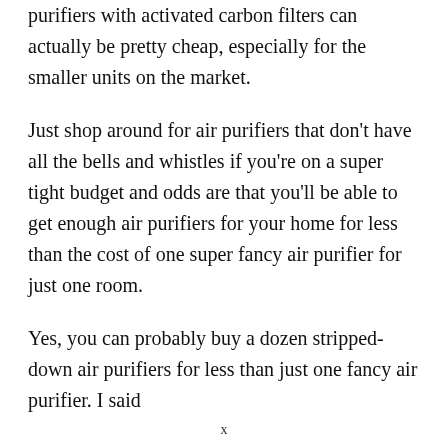purifiers with activated carbon filters can actually be pretty cheap, especially for the smaller units on the market.
Just shop around for air purifiers that don't have all the bells and whistles if you're on a super tight budget and odds are that you'll be able to get enough air purifiers for your home for less than the cost of one super fancy air purifier for just one room.
Yes, you can probably buy a dozen stripped-down air purifiers for less than just one fancy air purifier. I said
x